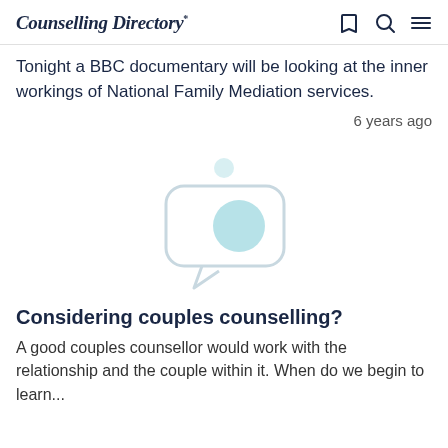Counselling Directory*
Tonight a BBC documentary will be looking at the inner workings of National Family Mediation services.
6 years ago
[Figure (illustration): Light blue/grey speech bubble icon with a circular element inside, representing counselling or conversation]
Considering couples counselling?
A good couples counsellor would work with the relationship and the couple within it. When do we begin to learn...